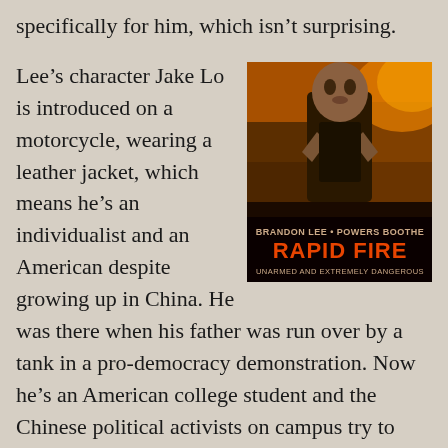specifically for him, which isn't surprising.
[Figure (photo): Movie poster for 'Rapid Fire' featuring Brandon Lee in a martial arts pose with text 'BRANDON LEE · POWERS BOOTHE RAPID FIRE UNARMED AND EXTREMELY DANGEROUS']
Lee's character Jake Lo is introduced on a motorcycle, wearing a leather jacket, which means he's an individualist and an American despite growing up in China. He was there when his father was run over by a tank in a pro-democracy demonstration. Now he's an American college student and the Chinese political activists on campus try to drag him into their cause because of who his father was, but he's not interested. You never really appreciate your father in the first half of your movie, do you?